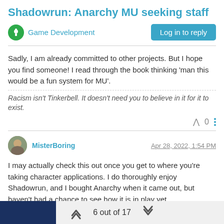Shadowrun: Anarchy MU seeking staff
Game Development
Sadly, I am already committed to other projects. But I hope you find someone! I read through the book thinking 'man this would be a fun system for MU'.
Racism isn't Tinkerbell. It doesn't need you to believe in it for it to exist.
MisterBoring
Apr 28, 2022, 1:54 PM
I may actually check this out once you get to where you're taking character applications. I do thoroughly enjoy Shadowrun, and I bought Anarchy when it came out, but haven't had a chance to see how it is in play yet.
6 out of 17